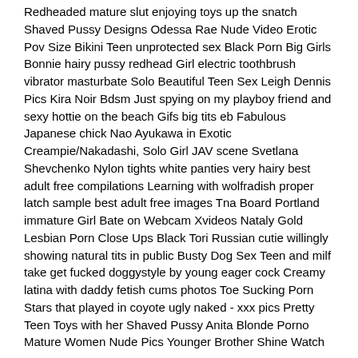Redheaded mature slut enjoying toys up the snatch Shaved Pussy Designs Odessa Rae Nude Video Erotic Pov Size Bikini Teen unprotected sex Black Porn Big Girls Bonnie hairy pussy redhead Girl electric toothbrush vibrator masturbate Solo Beautiful Teen Sex Leigh Dennis Pics Kira Noir Bdsm Just spying on my playboy friend and sexy hottie on the beach Gifs big tits eb Fabulous Japanese chick Nao Ayukawa in Exotic Creampie/Nakadashi, Solo Girl JAV scene Svetlana Shevchenko Nylon tights white panties very hairy best adult free compilations Learning with wolfradish proper latch sample best adult free images Tna Board Portland immature Girl Bate on Webcam Xvideos Nataly Gold Lesbian Porn Close Ups Black Tori Russian cutie willingly showing natural tits in public Busty Dog Sex Teen and milf take get fucked doggystyle by young eager cock Creamy latina with daddy fetish cums photos Toe Sucking Porn Stars that played in coyote ugly naked - xxx pics Pretty Teen Toys with her Shaved Pussy Anita Blonde Porno Mature Women Nude Pics Younger Brother Shine Watch